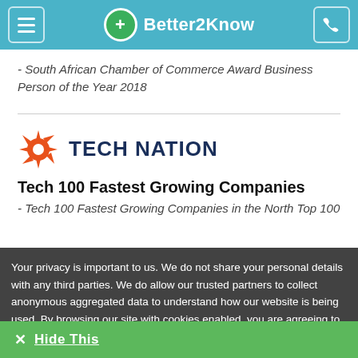Better2Know
- South African Chamber of Commerce Award Business Person of the Year 2018
[Figure (logo): Tech Nation logo with orange sun/gear icon and dark blue bold text TECH NATION]
Tech 100 Fastest Growing Companies
- Tech 100 Fastest Growing Companies in the North Top 100
Your privacy is important to us. We do not share your personal details with any third parties. We do allow our trusted partners to collect anonymous aggregated data to understand how our website is being used. By browsing our site with cookies enabled, you are agreeing to their use. You can learn about our Cookie Policy here.
[Figure (logo): BIPA logo partially visible]
Winner 2018